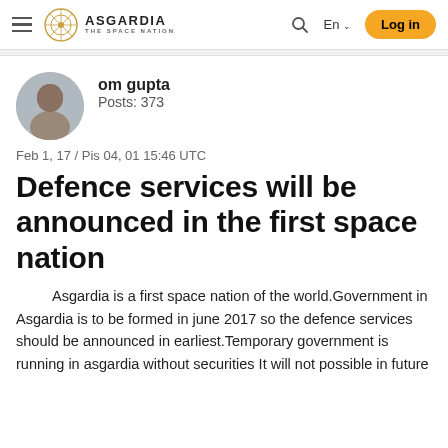ASGARDIA THE SPACE NATION | En | Log in
[Figure (photo): Circular avatar photo of om gupta, a middle-aged man]
om gupta
Posts: 373
Feb 1, 17 / Pis 04, 01 15:46 UTC
Defence services will be announced in the first space nation
Asgardia is a first space nation of the world.Government in Asgardia is to be formed in june 2017 so the defence services should be announced in earliest.Temporary government is running in asgardia without securities It will not possible in future